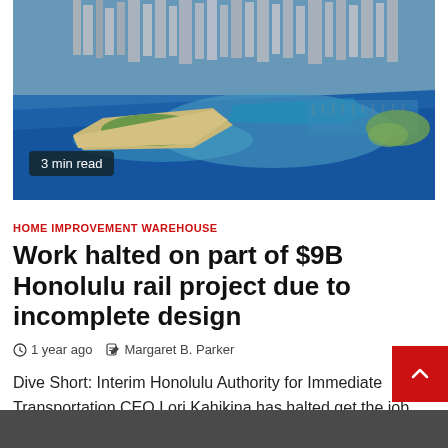[Figure (photo): Aerial photograph of Honolulu, Hawaii coastline showing the city skyline, beaches, harbor, and turquoise ocean water]
3 min read
HOME IMPROVEMENT WAREHOUSE
Work halted on part of $9B Honolulu rail project due to incomplete design
1 year ago   Margaret B. Parker
Dive Short: Interim Honolulu Authority for Immediate Transportation CEO Lori Kahikina has halted get the job done on a part...